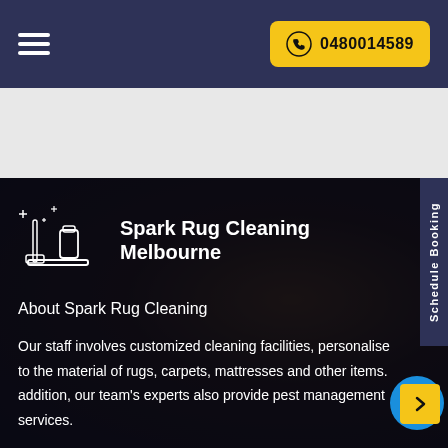Navigation bar with hamburger menu and phone number 0480014589
[Figure (logo): Spark Rug Cleaning Melbourne logo with cleaning equipment icon]
Spark Rug Cleaning Melbourne
About Spark Rug Cleaning
Our staff involves customized cleaning facilities, personalise to the material of rugs, carpets, mattresses and other items. addition, our team's experts also provide pest management services.